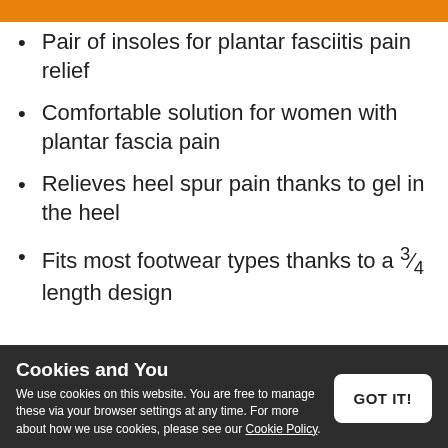[Figure (other): Orange button bar at top of page]
Pair of insoles for plantar fasciitis pain relief
Comfortable solution for women with plantar fascia pain
Relieves heel spur pain thanks to gel in the heel
Fits most footwear types thanks to a ¾ length design
Cookies and You
We use cookies on this website. You are free to manage these via your browser settings at any time. For more about how we use cookies, please see our Cookie Policy.